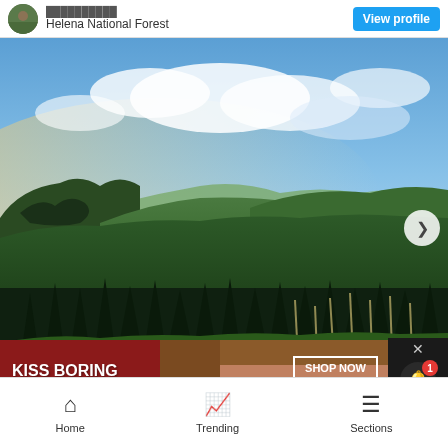Helena National Forest — View profile
[Figure (photo): Aerial landscape photo of Helena National Forest showing dense green conifer forest covering mountain ridges and valleys under a dramatic blue sky with white clouds at sunset/dusk.]
[Figure (photo): Advertisement banner: KISS BORING LIPS GOODBYE — SHOP NOW — macy's star logo, featuring a woman's face with red lips]
Home   Trending   Sections